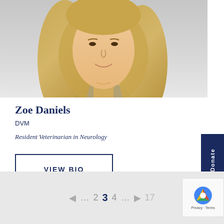[Figure (photo): Professional headshot of Zoe Daniels, DVM, wearing a white lab coat over blue scrubs, with long blonde wavy hair, light gray background]
Zoe Daniels
DVM
Resident Veterinarian in Neurology
VIEW BIO
◄ … 2 3 4 … ► 17